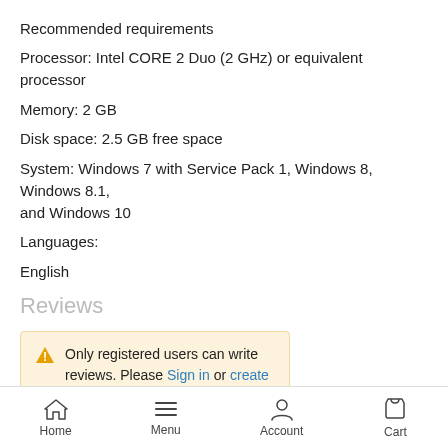Recommended requirements
Processor: Intel CORE 2 Duo (2 GHz) or equivalent processor
Memory: 2 GB
Disk space: 2.5 GB free space
System: Windows 7 with Service Pack 1, Windows 8, Windows 8.1, and Windows 10
Languages:
English
Reviews
Only registered users can write reviews. Please Sign in or create an account
Home  Menu  Account  Cart